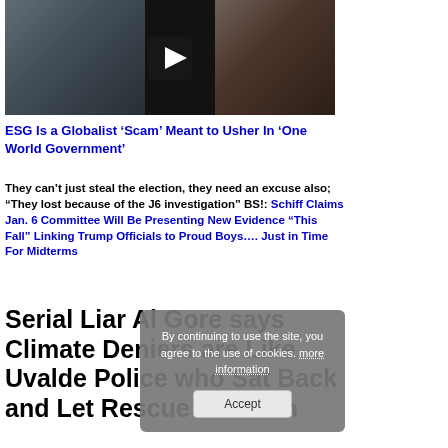[Figure (photo): Video thumbnail showing people with a play button overlay]
ESG Is a Globalist ‘Scam’ Meant to Usher In ‘One World Government’
They can’t just steal the election, they need an excuse also; “They lost because of the J6 investigation” BS!: Schiff Claims Jan. 6 Committee Will Be Presenting New Evidence “This Fall” Linking Trump Officials to Proud Boys…. Just in Time For Midterms
Serial Liar Al Gore says Climate Deniers are Like Uvalde Police who Sat Back and Let Rescue Children
By continuing to use the site, you agree to the use of cookies. more information
Accept